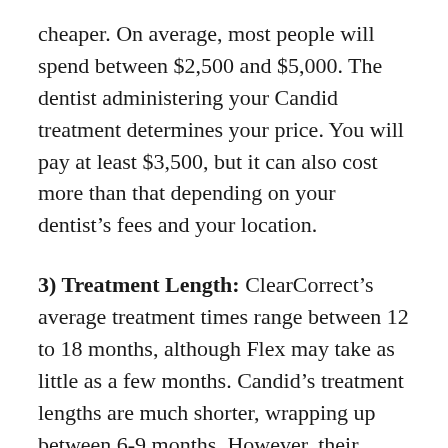cheaper. On average, most people will spend between $2,500 and $5,000. The dentist administering your Candid treatment determines your price. You will pay at least $3,500, but it can also cost more than that depending on your dentist's fees and your location.
3) Treatment Length: ClearCorrect's average treatment times range between 12 to 18 months, although Flex may take as little as a few months. Candid's treatment lengths are much shorter, wrapping up between 6-9 months. However, their CandidMonitoring service might allow you to progress through your aligners quicker, potentially shortening the overall timeline.